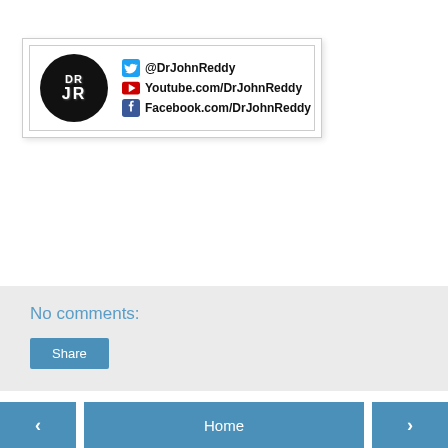[Figure (logo): Dr John Reddy social media profile card with circular DR/JR logo and links: @DrJohnReddy (Twitter), Youtube.com/DrJohnReddy, Facebook.com/DrJohnReddy]
No comments:
Share
Home